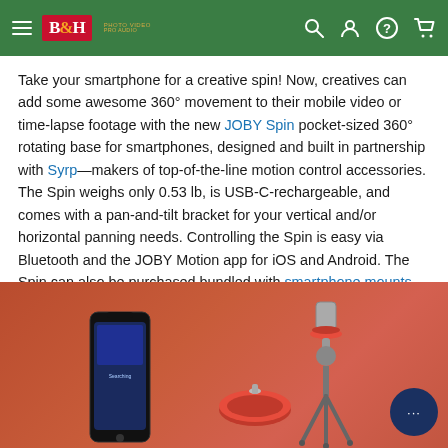B&H header navigation
Take your smartphone for a creative spin! Now, creatives can add some awesome 360° movement to their mobile video or time-lapse footage with the new JOBY Spin pocket-sized 360° rotating base for smartphones, designed and built in partnership with Syrp—makers of top-of-the-line motion control accessories. The Spin weighs only 0.53 lb, is USB-C-rechargeable, and comes with a pan-and-tilt bracket for your vertical and/or horizontal panning needs. Controlling the Spin is easy via Bluetooth and the JOBY Motion app for iOS and Android. The Spin can also be purchased bundled with smartphone mounts.
[Figure (photo): Product photo on reddish-orange background showing a smartphone with JOBY app, a red disc base (JOBY Spin), and a tripod/head assembly, with a chat bubble in the bottom right corner.]